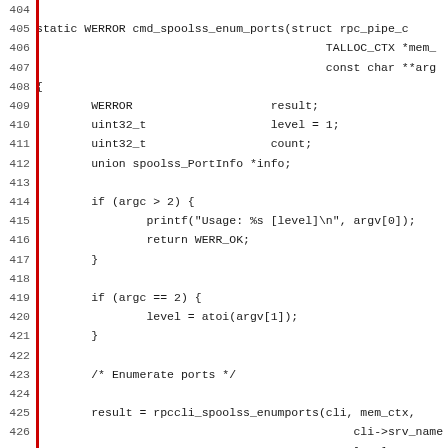[Figure (other): Source code listing showing C function cmd_spoolss_enum_ports with line numbers 404-435. The code includes variable declarations (WERROR result, uint32_t level=1, uint32_t count, union spoolss_PortInfo *info), argument count checks with printf and return statements, a call to rpccli_spoolss_enumports, and a for loop with switch statement.]